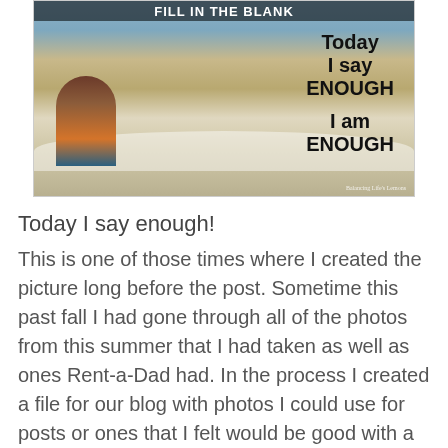[Figure (photo): Meme image with beach/ocean background showing a person with a child at the water's edge. Text overlay reads: 'FILL IN THE BLANK' at top, then 'Today I say ENOUGH' and 'I am ENOUGH' in large bold black text. Watermark: 'Balancing Life's Lemons' in bottom right corner.]
Today I say enough!
This is one of those times where I created the picture long before the post. Sometime this past fall I had gone through all of the photos from this summer that I had taken as well as ones Rent-a-Dad had. In the process I created a file for our blog with photos I could use for posts or ones that I felt would be good with a quote